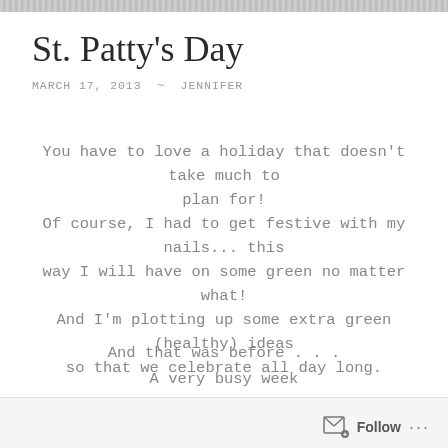St. Patty's Day
MARCH 17, 2013  ~  JENNIFER
You have to love a holiday that doesn't take much to plan for! Of course, I had to get festive with my nails... this way I will have on some green no matter what! And I'm plotting up some extra green (healthy) ideas so that we celebrate all day long.
And that was before . . .
A very busy week
And then this awful cold got ahold of me! Yuck!
Follow